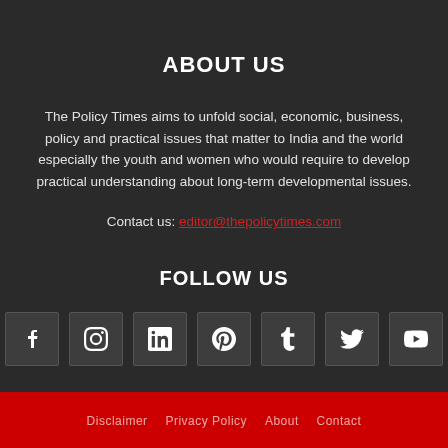ABOUT US
The Policy Times aims to unfold social, economic, business, policy and practical issues that matter to India and the world especially the youth and women who would require to develop practical understanding about long-term developmental issues.
Contact us: editor@thepolicytimes.com
FOLLOW US
[Figure (infographic): Seven social media icon buttons in a row: Facebook, Instagram, LinkedIn, Pinterest, Tumblr, Twitter, YouTube]
Disclaimer   Privacy Policy   About   Contact